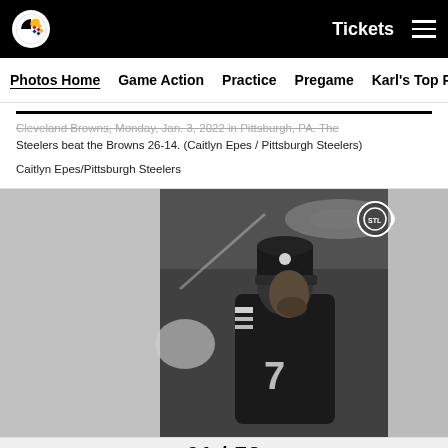Tickets  ☰
Photos Home  Game Action  Practice  Pregame  Karl's Top Pics
Cleveland Browns, Monday, Jan. 3, 2022 in Pittsburgh, PA. The Steelers beat the Browns 26-14. (Caitlyn Epes / Pittsburgh Steelers)
Caitlyn Epes/Pittsburgh Steelers
[Figure (photo): Black and white photo of a Pittsburgh Steelers player wearing jersey number 7 and a winter beanie hat, head down, in a stadium setting with bright lights in the background.]
01 / 72